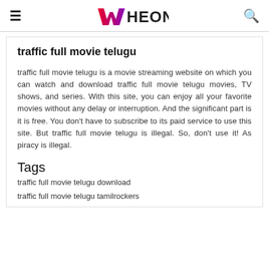WHEON
traffic full movie telugu
traffic full movie telugu is a movie streaming website on which you can watch and download traffic full movie telugu movies, TV shows, and series. With this site, you can enjoy all your favorite movies without any delay or interruption. And the significant part is it is free. You don't have to subscribe to its paid service to use this site. But traffic full movie telugu is illegal. So, don't use it! As piracy is illegal.
Tags
traffic full movie telugu download
traffic full movie telugu tamilrockers